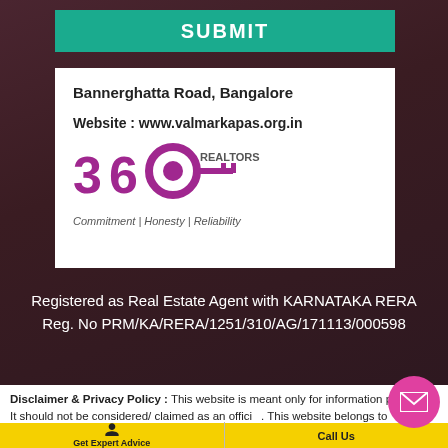SUBMIT
Bannerghatta Road, Bangalore

Website : www.valmarkapas.org.in
[Figure (logo): 360 Realtors logo with key icon and tagline 'Commitment | Honesty | Reliability']
Registered as Real Estate Agent with KARNATAKA RERA Reg. No PRM/KA/RERA/1251/310/AG/171113/000598
Disclaimer & Privacy Policy : This website is meant only for information purposes. It should not be considered/ claimed as an official. This website belongs to authorised channel partner of VALMA...
Get Expert Advice
Call Us